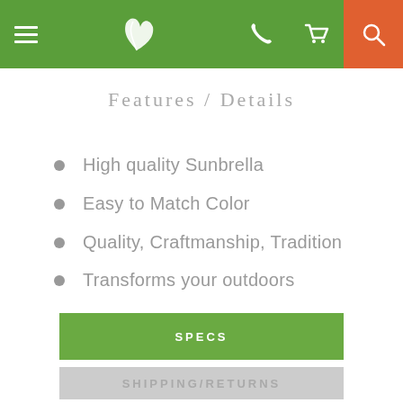Navigation header with menu, logo, phone, cart, search icons
Features / Details
High quality Sunbrella
Easy to Match Color
Quality, Craftmanship, Tradition
Transforms your outdoors
SPECS
SHIPPING/RETURNS